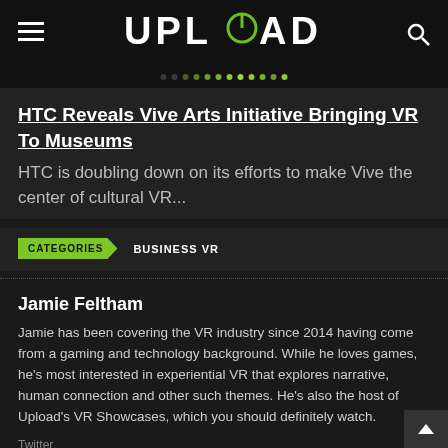UPLOAD
HTC Reveals Vive Arts Initiative Bringing VR To Museums
HTC is doubling down on its efforts to make Vive the center of cultural VR...
CATEGORIES   BUSINESS VR
Jamie Feltham
Jamie has been covering the VR industry since 2014 having come from a gaming and technology background. While he loves games, he's most interested in experiential VR that explores narrative, human connection and other such themes. He's also the host of Upload's VR Showcases, which you should definitely watch.
Twitter